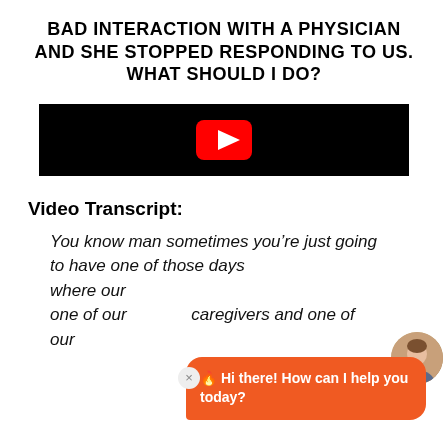BAD INTERACTION WITH A PHYSICIAN AND SHE STOPPED RESPONDING TO US. WHAT SHOULD I DO?
[Figure (screenshot): Embedded video player with black background and YouTube-style red play button in the center]
Video Transcript:
You know man sometimes you’re just going to have one of those days where our... one of our caregivers and one of our...
[Figure (illustration): Orange chat widget with avatar of a woman and message: 🔥 Hi there! How can I help you today?]